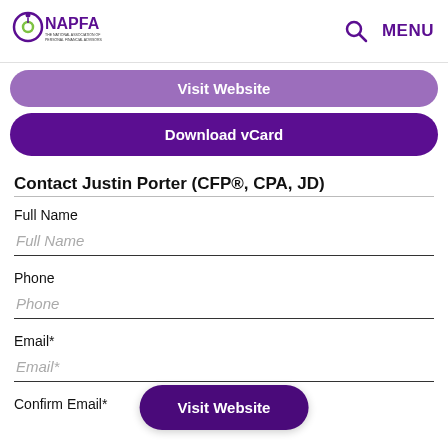NAPFA - The National Association of Personal Financial Advisors | Search | MENU
Visit Website
Download vCard
Contact Justin Porter (CFP®, CPA, JD)
Full Name
Full Name (placeholder)
Phone
Phone (placeholder)
Email*
Email* (placeholder)
Confirm Email*
Visit Website (floating button)